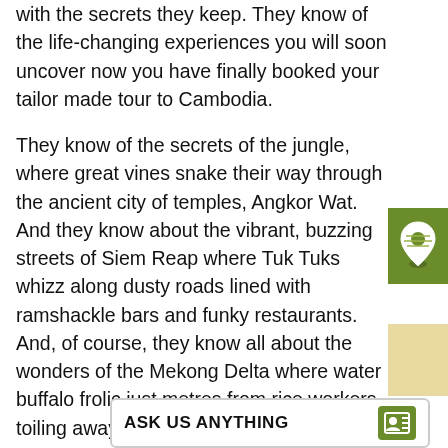with the secrets they keep. They know of the life-changing experiences you will soon uncover now you have finally booked your tailor made tour to Cambodia.
They know of the secrets of the jungle, where great vines snake their way through the ancient city of temples, Angkor Wat. And they know about the vibrant, buzzing streets of Siem Reap where Tuk Tuks whizz along dusty roads lined with ramshackle bars and funky restaurants. And, of course, they know all about the wonders of the Mekong Delta where water buffalo frolic just metres from rice workers toiling away in the paddies.
[Figure (other): Green map/location pin icon button on green background, positioned on right side]
[Figure (other): Beige/tan colored decorative box on right side lower area]
ASK US ANYTHING